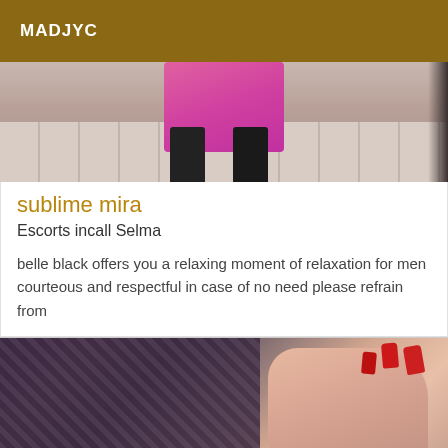MADJYC
[Figure (photo): Top portion of a photo showing a tiled floor with a person wearing pink clothing and black boots]
sublime mira
Escorts incall Selma
belle black offers you a relaxing moment of relaxation for men courteous and respectful in case of no need please refrain from
[Figure (photo): Close-up photo of hands with red fingernails and a tattoo visible on wrist, against a woven/textured surface]